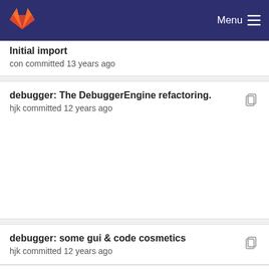GitLab — Menu
Initial import
con committed 13 years ago
debugger: The DebuggerEngine refactoring.
hjk committed 12 years ago
debugger: some gui & code cosmetics
hjk committed 12 years ago
debugger: The DebuggerEngine refactoring.
hjk committed 12 years ago